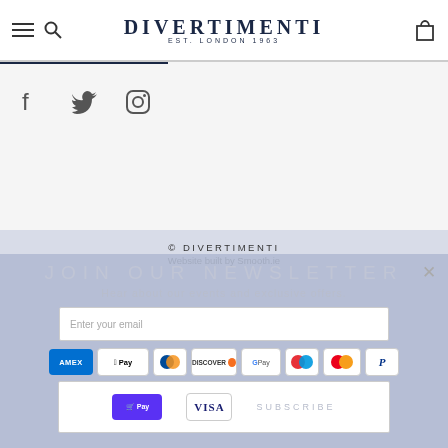DIVERTIMENTI EST. LONDON 1963
[Figure (illustration): Social media icons: Facebook, Twitter, Instagram]
© DIVERTIMENTI
Website built by Smooth.ie
[Figure (screenshot): Newsletter signup overlay: JOIN OUR NEWSLETTER - Hear about our events and exclusive offers. Email input, payment icons (Amex, Apple Pay, Diners, Discover, Google Pay, Maestro, Mastercard, PayPal, Shop Pay, Visa), Subscribe button]
[Figure (illustration): Payment method icons: Amex, Apple Pay, Diners Club, Discover, Google Pay, Maestro, Mastercard, PayPal, Shop Pay, Visa]